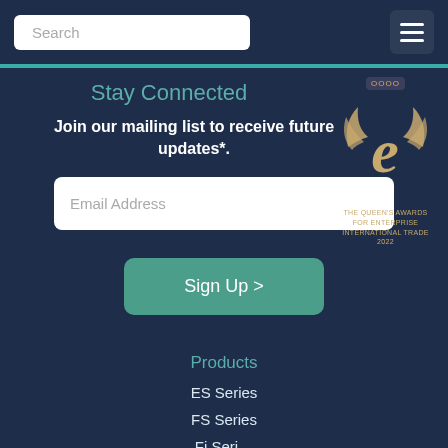Search
[Figure (logo): The Queen's Awards for Enterprise International Trade 2022 gold emblem with stylized 'e' and crown]
Stay Connected
Join our mailing list to receive future updates*.
Email Address
Sign Up >
Products
ES Series
FS Series